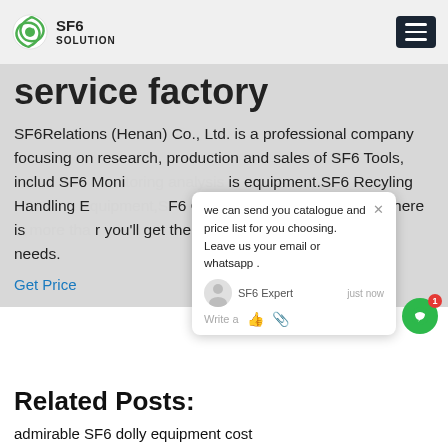SF6 SOLUTION
service factory
SF6Relations (Henan) Co., Ltd. is a professional company focusing on research, production and sales of SF6 Tools, includ SF6 Monitoring equipment.SF6 Recyling Handling Equipment,SF6 On-site service and training.There is more than you'll get the Perfect SF6 solution for your needs.
Get Price
Related Posts:
admirable SF6 dolly equipment cost
first-rate SF6 koblingsanlegg deivces
gru-7 SF6 moisture regeneration
cutting-edge filter SF6 device manual